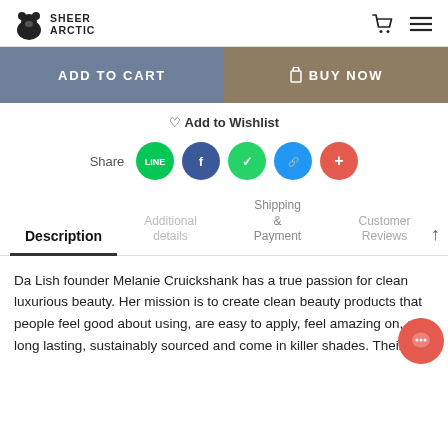SHEER ARCTIC
ADD TO CART | BUY NOW
♡ Add to Wishlist
Share (LINE, Facebook, WhatsApp, Link, Plus)
Description | Additional details | Shipping & Payment | Customer Reviews
Da Lish founder Melanie Cruickshank has a true passion for clean luxurious beauty. Her mission is to create clean beauty products that people feel good about using, are easy to apply, feel amazing on, are long lasting, sustainably sourced and come in killer shades. Their